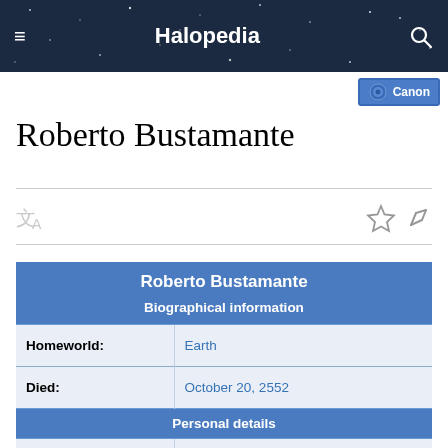Halopedia
[Figure (other): Canon badge with circular logo icon and text 'Canon']
Roberto Bustamante
| Roberto Bustamante |  |
| --- | --- |
| Biographical information |  |
| Homeworld: | Earth |
| Died: | October 20, 2552 |
| Personal details |  |
| Species: | Human |
| Gender: | Male |